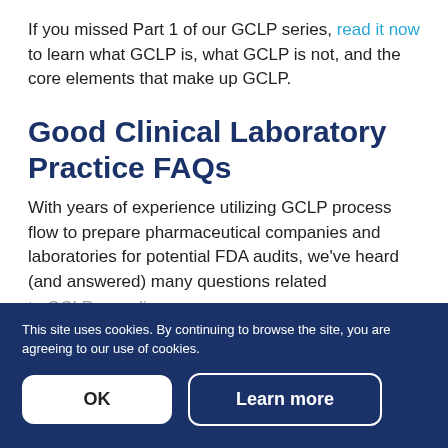If you missed Part 1 of our GCLP series, read it now to learn what GCLP is, what GCLP is not, and the core elements that make up GCLP.
Good Clinical Laboratory Practice FAQs
With years of experience utilizing GCLP process flow to prepare pharmaceutical companies and laboratories for potential FDA audits, we've heard (and answered) many questions related to GCLP compliance.
Find several of the most frequently asked and intriguing questions below.
This site uses cookies. By continuing to browse the site, you are agreeing to our use of cookies.